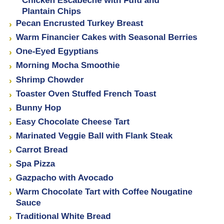Chicken Escabeche with Fufu and Plantain Chips
Pecan Encrusted Turkey Breast
Warm Financier Cakes with Seasonal Berries
One-Eyed Egyptians
Morning Mocha Smoothie
Shrimp Chowder
Toaster Oven Stuffed French Toast
Bunny Hop
Easy Chocolate Cheese Tart
Marinated Veggie Ball with Flank Steak
Carrot Bread
Spa Pizza
Gazpacho with Avocado
Warm Chocolate Tart with Coffee Nougatine Sauce
Traditional White Bread
Honey-Wheat Pancakes
Cherry Soup with Fromage Blanc
Fried Pasta Chips & Dipping Sauce